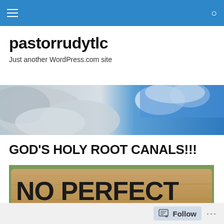Navigation bar with hamburger menu and search icon
pastorrudytlc
Just another WordPress.com site
[Figure (photo): Sky banner image with clouds and blue sky]
GOD'S HOLY ROOT CANALS!!!
[Figure (photo): Wooden sign reading NO PERFECT PEOPLE in black painted letters on wood background with green foliage]
Follow ...